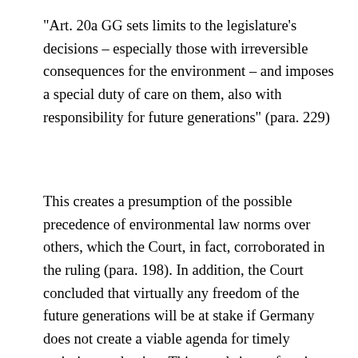"Art. 20a GG sets limits to the legislature's decisions – especially those with irreversible consequences for the environment – and imposes a special duty of care on them, also with responsibility for future generations" (para. 229)
This creates a presumption of the possible precedence of environmental law norms over others, which the Court, in fact, corroborated in the ruling (para. 198). In addition, the Court concluded that virtually any freedom of the future generations will be at stake if Germany does not create a viable agenda for timely emissions reduction. This stands in conformity with the Paris Agreement's preambular clause that States while taking actions